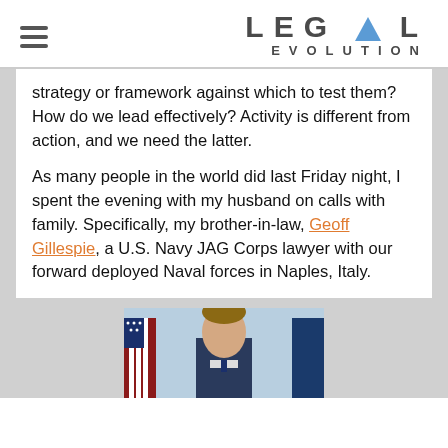LEGAL EVOLUTION
strategy or framework against which to test them?  How do we lead effectively?  Activity is different from action, and we need the latter.
As many people in the world did last Friday night, I spent the evening with my husband on calls with family.  Specifically, my brother-in-law, Geoff Gillespie, a U.S. Navy JAG Corps lawyer with our forward deployed Naval forces in Naples, Italy.
[Figure (photo): Portrait photo of Geoff Gillespie in military uniform with flags in the background]